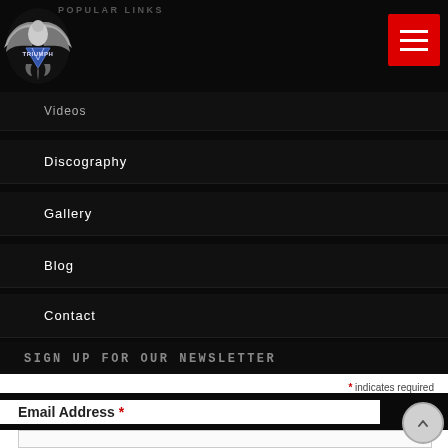[Figure (logo): Triumph band logo — eagle with wings spread, metallic design on black background]
POPULAR LINKS
Videos
Discography
Gallery
Blog
Contact
SIGN UP FOR OUR NEWSLETTER
* indicates required
Email Address *